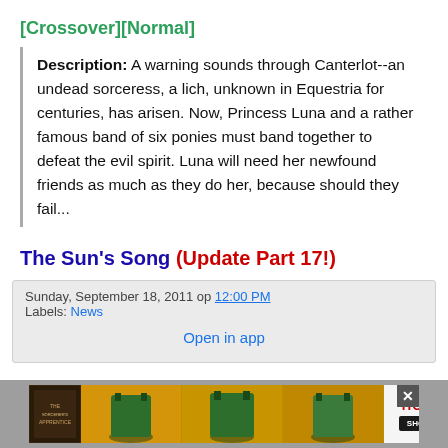[Crossover][Normal]
Description: A warning sounds through Canterlot--an undead sorceress, a lich, unknown in Equestria for centuries, has arisen. Now, Princess Luna and a rather famous band of six ponies must band together to defeat the evil spirit. Luna will need her newfound friends as much as they do her, because should they fail...
The Sun's Song (Update Part 17!)
Sunday, September 18, 2011 op 12:00 PM
Labels: News
Open in app
[Figure (photo): Advertisement banner at bottom of page showing a movie/show promotion with HOT label and SHOP NOW button]